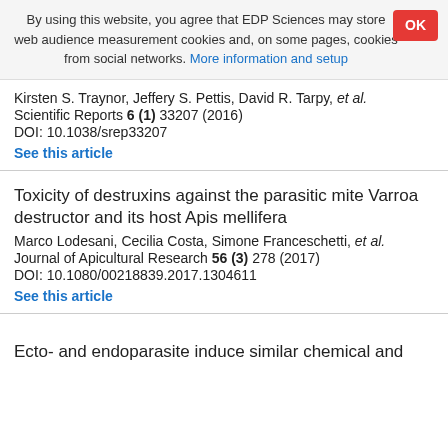By using this website, you agree that EDP Sciences may store web audience measurement cookies and, on some pages, cookies from social networks. More information and setup
Kirsten S. Traynor, Jeffery S. Pettis, David R. Tarpy, et al. Scientific Reports 6 (1) 33207 (2016) DOI: 10.1038/srep33207 See this article
Toxicity of destruxins against the parasitic mite Varroa destructor and its host Apis mellifera
Marco Lodesani, Cecilia Costa, Simone Franceschetti, et al. Journal of Apicultural Research 56 (3) 278 (2017) DOI: 10.1080/00218839.2017.1304611 See this article
Ecto- and endoparasite induce similar chemical and